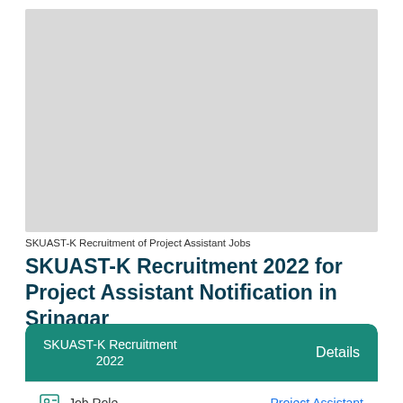[Figure (photo): Gray placeholder image for SKUAST-K recruitment article]
SKUAST-K Recruitment of Project Assistant Jobs
SKUAST-K Recruitment 2022 for Project Assistant Notification in Srinagar
| SKUAST-K Recruitment 2022 | Details |
| --- | --- |
| Job Role | Project Assistant |